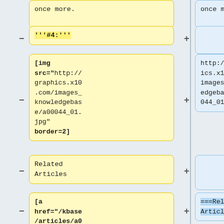once more.
once more.
'''#4:'''
[img src="http://graphics.x10.com/images_knowledgebase/a00044_01.jpg" border=2]
http://graphics.x10.com/images_knowledgebase/a00044_01.jpg
Related Articles
[a href="/kbase/articles/a00039.html"]a00039[/a] : Setting Up and learning
===Related Articles===